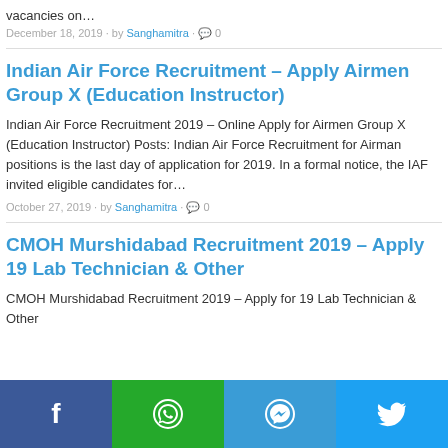vacancies on…
December 18, 2019 · by Sanghamitra · 0
Indian Air Force Recruitment – Apply Airmen Group X (Education Instructor)
Indian Air Force Recruitment 2019 – Online Apply for Airmen Group X (Education Instructor) Posts: Indian Air Force Recruitment for Airman positions is the last day of application for 2019. In a formal notice, the IAF invited eligible candidates for…
October 27, 2019 · by Sanghamitra · 0
CMOH Murshidabad Recruitment 2019 – Apply 19 Lab Technician & Other
CMOH Murshidabad Recruitment 2019 – Apply for 19 Lab Technician & Other
[Figure (infographic): Social sharing bar with Facebook, WhatsApp, Messenger, and Twitter buttons]